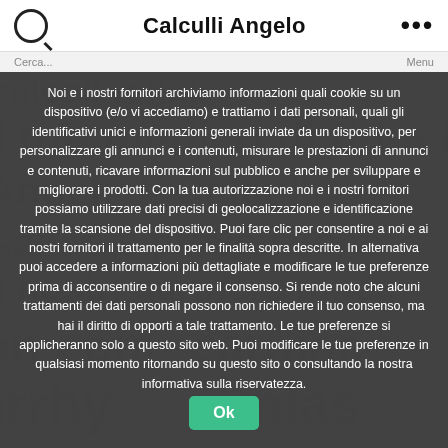Calculli Angelo
Noi e i nostri fornitori archiviamo informazioni quali cookie su un dispositivo (e/o vi accediamo) e trattiamo i dati personali, quali gli identificativi unici e informazioni generali inviate da un dispositivo, per personalizzare gli annunci e i contenuti, misurare le prestazioni di annunci e contenuti, ricavare informazioni sul pubblico e anche per sviluppare e migliorare i prodotti. Con la tua autorizzazione noi e i nostri fornitori possiamo utilizzare dati precisi di geolocalizzazione e identificazione tramite la scansione del dispositivo. Puoi fare clic per consentire a noi e ai nostri fornitori il trattamento per le finalità sopra descritte. In alternativa puoi accedere a informazioni più dettagliate e modificare le tue preferenze prima di acconsentire o di negare il consenso. Si rende noto che alcuni trattamenti dei dati personali possono non richiedere il tuo consenso, ma hai il diritto di opporti a tale trattamento. Le tue preferenze si applicheranno solo a questo sito web. Puoi modificare le tue preferenze in qualsiasi momento ritornando su questo sito o consultando la nostra informativa sulla riservatezza.